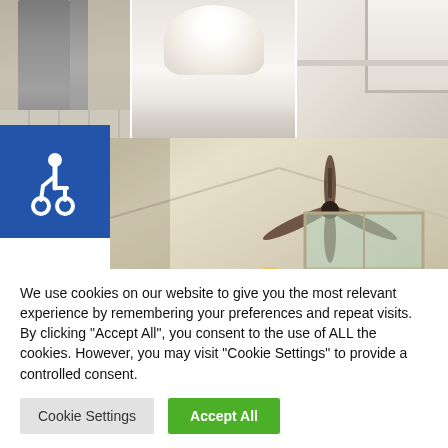[Figure (photo): Top row of apartment interior photos: kitchen with stainless steel refrigerator and tile floor (left), bright white ceiling light fixture (center), and counter/bar area (right)]
[Figure (illustration): Blue square accessibility icon with wheelchair symbol]
[Figure (photo): Living room interior with vaulted ceiling, ceiling fan, two wall sconces with warm lighting, hardwood floor, and sliding glass door to patio]
We use cookies on our website to give you the most relevant experience by remembering your preferences and repeat visits. By clicking "Accept All", you consent to the use of ALL the cookies. However, you may visit "Cookie Settings" to provide a controlled consent.
Cookie Settings
Accept All